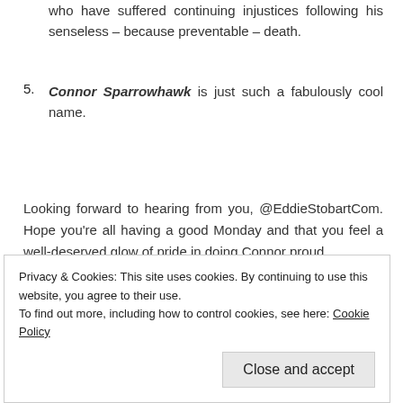who have suffered continuing injustices following his senseless – because preventable – death.
5. Connor Sparrowhawk is just such a fabulously cool name.
Looking forward to hearing from you, @EddieStobartCom. Hope you're all having a good Monday and that you feel a well-deserved glow of pride in doing Connor proud.
Privacy & Cookies: This site uses cookies. By continuing to use this website, you agree to their use.
To find out more, including how to control cookies, see here: Cookie Policy
Close and accept